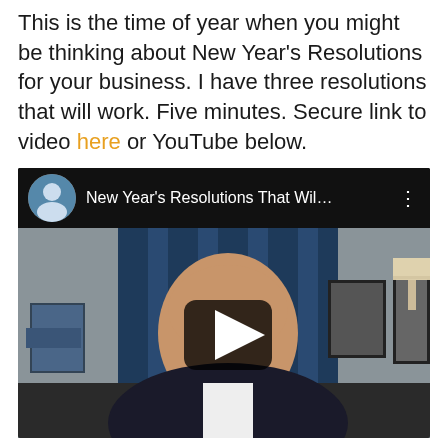This is the time of year when you might be thinking about New Year's Resolutions for your business. I have three resolutions that will work. Five minutes. Secure link to video here or YouTube below.
[Figure (screenshot): YouTube video embed showing a man in a suit sitting at a desk with blue curtains in the background. The video header shows a channel avatar, the title 'New Year's Resolutions That Wil...' and a three-dot menu. A play button overlay appears on the video thumbnail.]